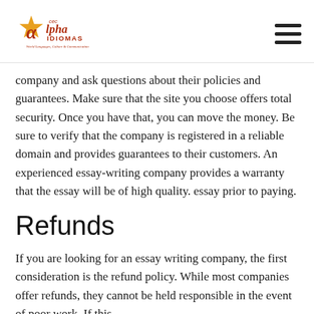CEC Alpha Idiomas — World Languages, Culture & Communication
company and ask questions about their policies and guarantees. Make sure that the site you choose offers total security. Once you have that, you can move the money. Be sure to verify that the company is registered in a reliable domain and provides guarantees to their customers. An experienced essay-writing company provides a warranty that the essay will be of high quality. essay prior to paying.
Refunds
If you are looking for an essay writing company, the first consideration is the refund policy. While most companies offer refunds, they cannot be held responsible in the event of poor work. If this